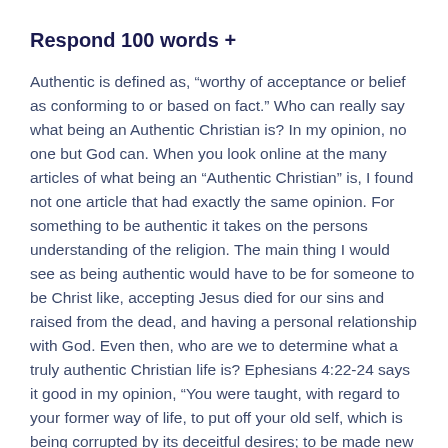Respond 100 words +
Authentic is defined as, “worthy of acceptance or belief as conforming to or based on fact.” Who can really say what being an Authentic Christian is? In my opinion, no one but God can. When you look online at the many articles of what being an “Authentic Christian” is, I found not one article that had exactly the same opinion. For something to be authentic it takes on the persons understanding of the religion. The main thing I would see as being authentic would have to be for someone to be Christ like, accepting Jesus died for our sins and raised from the dead, and having a personal relationship with God. Even then, who are we to determine what a truly authentic Christian life is? Ephesians 4:22-24 says it good in my opinion, “You were taught, with regard to your former way of life, to put off your old self, which is being corrupted by its deceitful desires; to be made new in the attitude of your minds; and to put on the new self, created to be like God in true righteousness and holiness.” However, based on the fundamentals of the Christian faith being authentic would be, belief in Christ, practicing worship, and